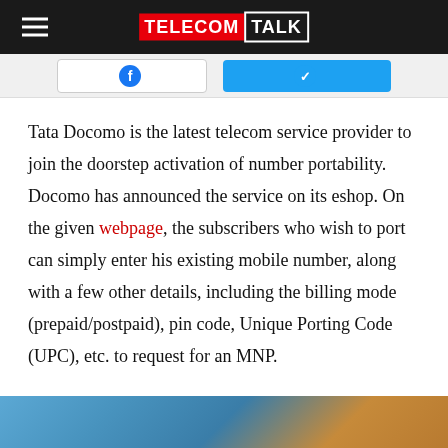TELECOMTALK
[Figure (other): Social share buttons area with Facebook and Twitter buttons partially visible]
Tata Docomo is the latest telecom service provider to join the doorstep activation of number portability. Docomo has announced the service on its eshop. On the given webpage, the subscribers who wish to port can simply enter his existing mobile number, along with a few other details, including the billing mode (prepaid/postpaid), pin code, Unique Porting Code (UPC), etc. to request for an MNP.
[Figure (photo): Partial photo at bottom showing person in teal/blue top]